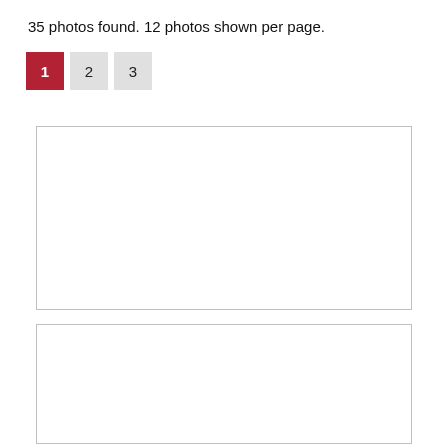35 photos found. 12 photos shown per page.
1 2 3
[Figure (photo): Empty photo placeholder box 1]
[Figure (photo): Empty photo placeholder box 2]